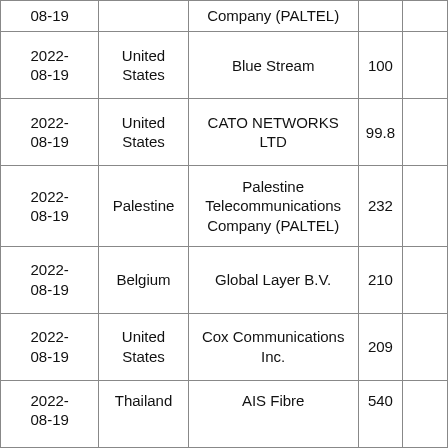| Date | Country | Organization | Value |  |
| --- | --- | --- | --- | --- |
| 08-19 |  | Company (PALTEL) |  |  |
| 2022-08-19 | United States | Blue Stream | 100 |  |
| 2022-08-19 | United States | CATO NETWORKS LTD | 99.8 |  |
| 2022-08-19 | Palestine | Palestine Telecommunications Company (PALTEL) | 232 |  |
| 2022-08-19 | Belgium | Global Layer B.V. | 210 |  |
| 2022-08-19 | United States | Cox Communications Inc. | 209 |  |
| 2022-08-19 | Thailand | AIS Fibre | 540 |  |